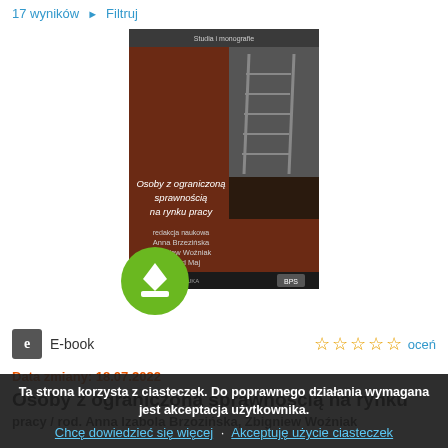17 wyników ▶ Filtruj
[Figure (photo): Book cover: 'Osoby z ograniczoną sprawnością na rynku pracy' with a green download badge overlay at bottom left. Book has brown/dark cover with white text and a ladder image.]
E-book  ☆☆☆☆☆  oceń
Data zmiany: 18.07.2022
Osoby z ograniczoną sprawnością na rynku pracy
/ rod. Anna Izabola Brzozińska, Zbigniew Woźniak
Ta strona korzysta z ciasteczek. Do poprawnego działania wymagana jest akceptacja użytkownika.
Chcę dowiedzieć się więcej · Akceptuję użycie ciasteczek